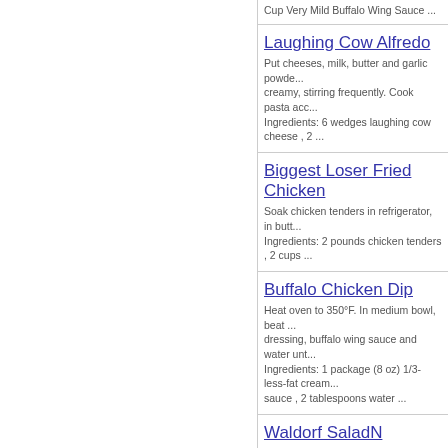Cup Very Mild Buffalo Wing Sauce ...
Laughing Cow Alfredo
Put cheeses, milk, butter and garlic powde... creamy, stirring frequently. Cook pasta acc... Ingredients: 6 wedges laughing cow cheese , 2 ...
Biggest Loser Fried Chicken
Soak chicken tenders in refrigerator, in butt... Ingredients: 2 pounds chicken tenders , 2 cups ...
Buffalo Chicken Dip
Heat oven to 350°F. In medium bowl, beat ... dressing, buffalo wing sauce and water unt... Ingredients: 1 package (8 oz) 1/3-less-fat crea... sauce , 2 tablespoons water ...
Waldorf SaladN
Mix all ingredients together and toss to co... Ingredients: 1/4 cup plain, fat-free yogurt, 3 Tb... tsp lemon juice ...
Easy Potato Soup
Mix together and warm on the stove over m... thick (mine was just fine...just heated and s... Ingredients: 1 bag frozen has browns , 32 oz. 9... 98% fat-free cream of mushroom soup...
Oatmeal Cranberry White Ch
Preheat oven to 375 degrees. Using an el...